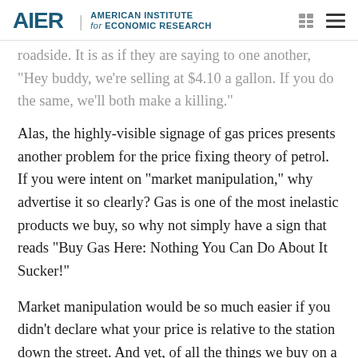AIER | AMERICAN INSTITUTE for ECONOMIC RESEARCH
roadside.  It is as if they are saying to one another, "Hey buddy, we're selling at $4.10 a gallon. If you do the same, we'll both make a killing."
Alas, the highly-visible signage of gas prices presents another problem for the price fixing theory of petrol. If you were intent on “market manipulation,” why advertise it so clearly? Gas is one of the most inelastic products we buy, so why not simply have a sign that reads “Buy Gas Here: Nothing You Can Do About It Sucker!”
Market manipulation would be so much easier if you didn’t declare what your price is relative to the station down the street.  And yet, of all the things we buy on a regular basis, the price at the pump is the most visible.